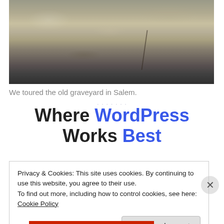[Figure (photo): Close-up photo of an old stone (gravestone or rock) with rough texture, cracks, and weathering. The bottom shows dark gravel/ground.]
We toured the old graveyard in Salem.
Where WordPress Works Best
Privacy & Cookies: This site uses cookies. By continuing to use this website, you agree to their use.
To find out more, including how to control cookies, see here: Cookie Policy
Close and accept